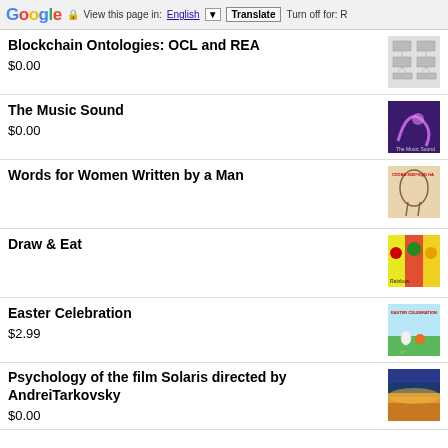Google — View this page in: English ▼ | Translate | Turn off for: R
Blockchain Ontologies: OCL and REA
$0.00
The Music Sound
$0.00
Words for Women Written by a Man
Draw & Eat
Easter Celebration
$2.99
Psychology of the film Solaris directed by AndreiTarkovsky
$0.00